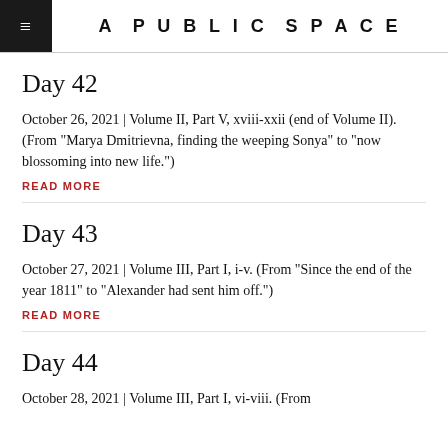A PUBLIC SPACE
Day 42
October 26, 2021 | Volume II, Part V, xviii-xxii (end of Volume II). (From "Marya Dmitrievna, finding the weeping Sonya" to "now blossoming into new life.")
READ MORE
Day 43
October 27, 2021 | Volume III, Part I, i-v. (From "Since the end of the year 1811" to "Alexander had sent him off.")
READ MORE
Day 44
October 28, 2021 | Volume III, Part I, vi-viii. (From